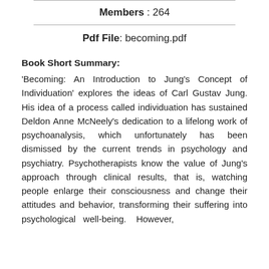Members : 264
Pdf File: becoming.pdf
Book Short Summary:
'Becoming: An Introduction to Jung's Concept of Individuation' explores the ideas of Carl Gustav Jung. His idea of a process called individuation has sustained Deldon Anne McNeely's dedication to a lifelong work of psychoanalysis, which unfortunately has been dismissed by the current trends in psychology and psychiatry. Psychotherapists know the value of Jung's approach through clinical results, that is, watching people enlarge their consciousness and change their attitudes and behavior, transforming their suffering into psychological well-being. However,